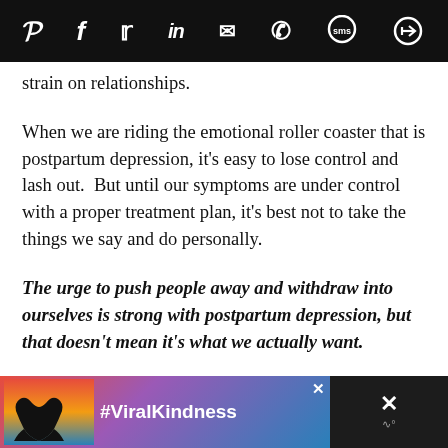[Figure (screenshot): Top navigation bar with social sharing icons: Pinterest, Facebook, Twitter, LinkedIn, Email, WhatsApp, SMS, and another circular icon on a black background]
strain on relationships.
When we are riding the emotional roller coaster that is postpartum depression, it's easy to lose control and lash out.  But until our symptoms are under control with a proper treatment plan, it's best not to take the things we say and do personally.
The urge to push people away and withdraw into ourselves is strong with postpartum depression, but that doesn't mean it's what we actually want.
[Figure (screenshot): Bottom advertisement bar showing heart-shaped hands silhouette against a sunset sky with #ViralKindness text and close/dismiss buttons]